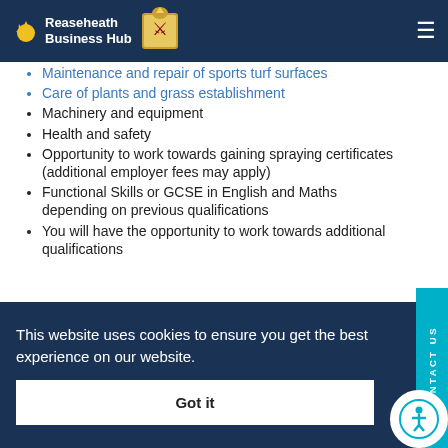Reaseheath Business Hub — navigation bar
Maintenance and repair of sports turf surfaces
Care of plants and grass establishment
Machinery and equipment
Health and safety
Opportunity to work towards gaining spraying certificates (additional employer fees may apply)
Functional Skills or GCSE in English and Maths depending on previous qualifications
You will have the opportunity to work towards additional qualifications
This website uses cookies to ensure you get the best experience on our website.
Got it